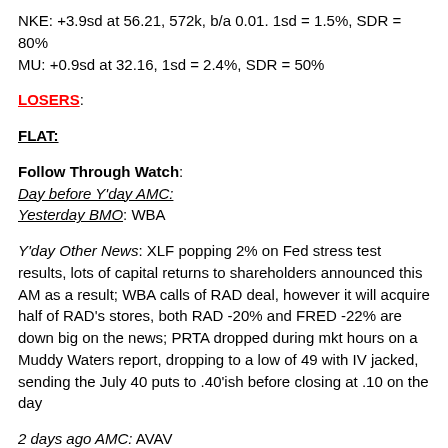NKE: +3.9sd at 56.21, 572k, b/a 0.01. 1sd = 1.5%, SDR = 80%
MU: +0.9sd at 32.16, 1sd = 2.4%, SDR = 50%
LOSERS:
FLAT:
Follow Through Watch:
Day before Y'day AMC:
Yesterday BMO: WBA
Y'day Other News: XLF popping 2% on Fed stress test results, lots of capital returns to shareholders announced this AM as a result; WBA calls of RAD deal, however it will acquire half of RAD's stores, both RAD -20% and FRED -22% are down big on the news; PRTA dropped during mkt hours on a Muddy Waters report, dropping to a low of 49 with IV jacked, sending the July 40 puts to .40'ish before closing at .10 on the day
2 days ago AMC: AVAV